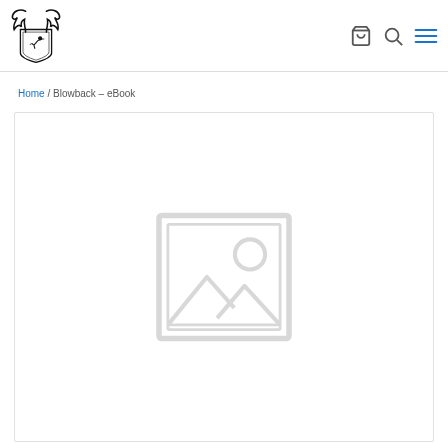[Figure (logo): Website logo with antlers and shield emblem for The Marksman or similar brand]
Home / Blowback – eBook
[Figure (photo): Placeholder image with mountain/landscape and sun icon inside a picture frame outline, indicating no product image available]